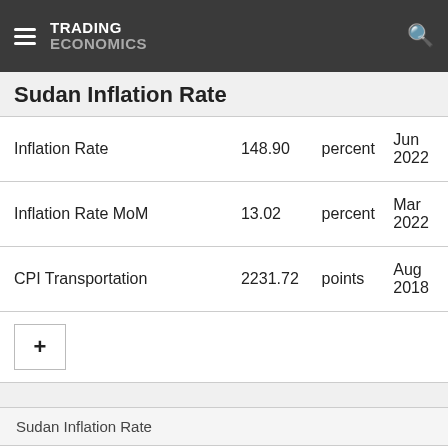TRADING ECONOMICS
Sudan Inflation Rate
|  | Value | Unit | Date |
| --- | --- | --- | --- |
| Inflation Rate | 148.90 | percent | Jun 2022 |
| Inflation Rate MoM | 13.02 | percent | Mar 2022 |
| CPI Transportation | 2231.72 | points | Aug 2018 |
Sudan Inflation Rate
In Sudan, the inflation rate measures a broad rise or fall in prices that consumers pay for a standard basket of goods.
| Actual | Previous | Highest | Lowest | Dates | Unit |
| --- | --- | --- | --- | --- | --- |